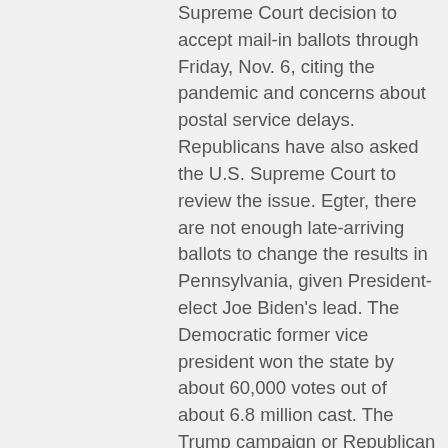Supreme Court decision to accept mail-in ballots through Friday, Nov. 6, citing the pandemic and concerns about postal service delays. Republicans have also asked the U.S. Supreme Court to review the issue. Egter, there are not enough late-arriving ballots to change the results in Pennsylvania, given President-elect Joe Biden's lead. The Democratic former vice president won the state by about 60,000 votes out of about 6.8 million cast. The Trump campaign or Republican surrogates have filed more than 15 legal challenges in Pennsylvania as they seek to reclaim the state's 20 electoral votes, but have so far offered no evidence of any widespread voter fraud. A Philadelphia judge found none as he refused late Friday to reject about 8,300 mail-in ballots there. The campaign has pursued similar litigation in other battleground states, with little to show for it. In Michigan, a judge Friday refused to stop the certification of Detroit-area election results, rejecting claims the city had committed fraud and tainted the count with its handling of absentee ballots. It's the third time a judge has declined to